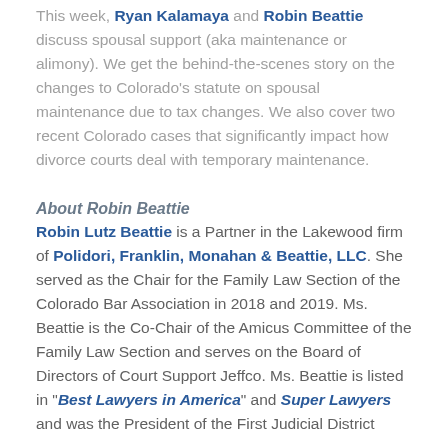This week, Ryan Kalamaya and Robin Beattie discuss spousal support (aka maintenance or alimony). We get the behind-the-scenes story on the changes to Colorado's statute on spousal maintenance due to tax changes. We also cover two recent Colorado cases that significantly impact how divorce courts deal with temporary maintenance.
About Robin Beattie
Robin Lutz Beattie is a Partner in the Lakewood firm of Polidori, Franklin, Monahan & Beattie, LLC. She served as the Chair for the Family Law Section of the Colorado Bar Association in 2018 and 2019. Ms. Beattie is the Co-Chair of the Amicus Committee of the Family Law Section and serves on the Board of Directors of Court Support Jeffco. Ms. Beattie is listed in "Best Lawyers in America" and Super Lawyers and was the President of the First Judicial District